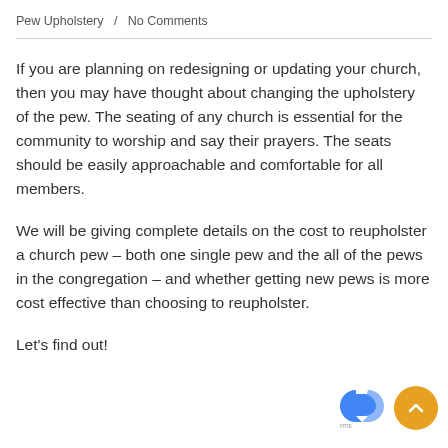Pew Upholstery  /  No Comments
If you are planning on redesigning or updating your church, then you may have thought about changing the upholstery of the pew. The seating of any church is essential for the community to worship and say their prayers. The seats should be easily approachable and comfortable for all members.
We will be giving complete details on the cost to reupholster a church pew – both one single pew and the all of the pews in the congregation – and whether getting new pews is more cost effective than choosing to reupholster.
Let's find out!